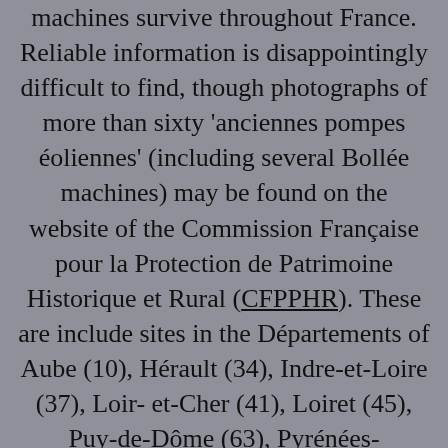machines survive throughout France. Reliable information is disappointingly difficult to find, though photographs of more than sixty 'anciennes pompes éoliennes' (including several Bollée machines) may be found on the website of the Commission Française pour la Protection de Patrimoine Historique et Rural (CFPPHR). These are include sites in the Départements of Aube (10), Hérault (34), Indre-et-Loire (37), Loir-et-Cher (41), Loiret (45), Puy-de-Dôme (63), Pyrénées-Orientales (66), Seine-et-Marne (77), Yvelines (78), Yonne (89), Essonne (91) and Val-de-Oise (95).
However, though some of the indigenous French inventions attained local notoriety, none was able to challenge the Éolienne Bollée for sheer